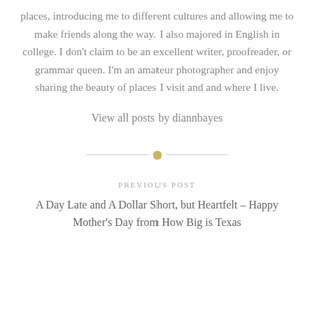places, introducing me to different cultures and allowing me to make friends along the way. I also majored in English in college. I don't claim to be an excellent writer, proofreader, or grammar queen. I'm an amateur photographer and enjoy sharing the beauty of places I visit and and where I live.
View all posts by diannbayes
[Figure (other): Decorative divider with horizontal lines and a central gold dot]
PREVIOUS POST
A Day Late and A Dollar Short, but Heartfelt – Happy Mother's Day from How Big is Texas